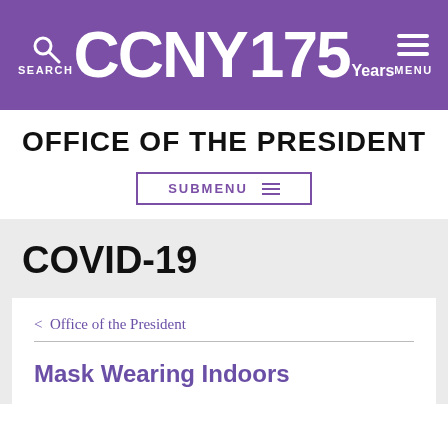CCNY 175 Years — SEARCH | MENU
OFFICE OF THE PRESIDENT
SUBMENU
COVID-19
< Office of the President
Mask Wearing Indoors